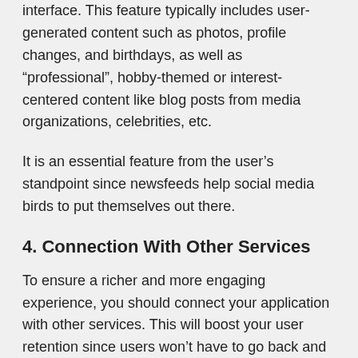interface. This feature typically includes user-generated content such as photos, profile changes, and birthdays, as well as “professional”, hobby-themed or interest-centered content like blog posts from media organizations, celebrities, etc.
It is an essential feature from the user’s standpoint since newsfeeds help social media birds to put themselves out there.
4. Connection With Other Services
To ensure a richer and more engaging experience, you should connect your application with other services. This will boost your user retention since users won’t have to go back and forth between the applications, as your app is an all-in-one option. The most popular third-party services include: